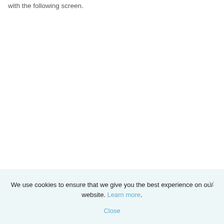with the following screen.
We use cookies to ensure that we give you the best experience on our website. Learn more. Close